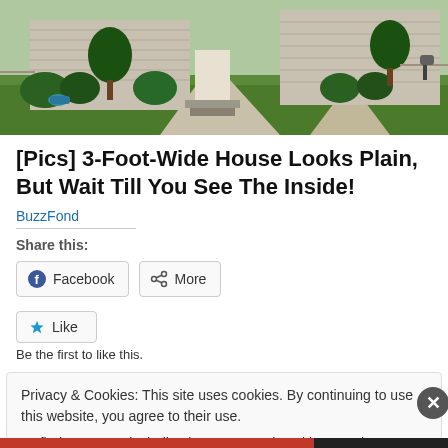[Figure (photo): Exterior photo of suburban houses with green lawn, shrubs, and a concrete walkway]
[Pics] 3-Foot-Wide House Looks Plain, But Wait Till You See The Inside!
BuzzFond
Share this:
Facebook  More
Like
Be the first to like this.
Privacy & Cookies: This site uses cookies. By continuing to use this website, you agree to their use.
To find out more, including how to control cookies, see here: Cookie Policy
Close and accept